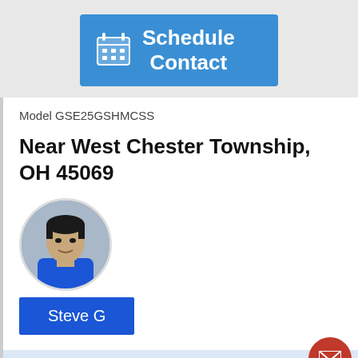[Figure (screenshot): Schedule Contact button with calendar icon on blue background]
Model GSE25GSHMCSS
Near West Chester Township, OH 45069
[Figure (photo): Circular profile photo of a man named Steve G]
Steve G
Job Details:
08/08/20